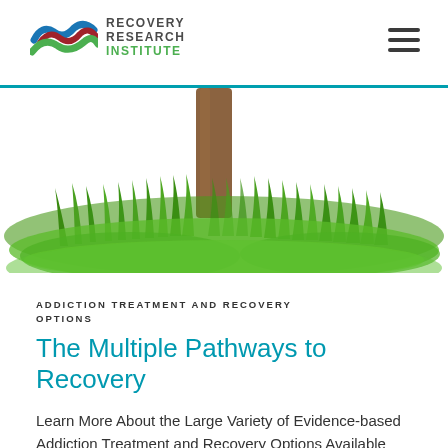Recovery Research Institute
[Figure (illustration): Bottom portion of a tree trunk with lush green grass around its base on a white background]
ADDICTION TREATMENT AND RECOVERY OPTIONS
The Multiple Pathways to Recovery
Learn More About the Large Variety of Evidence-based Addiction Treatment and Recovery Options Available